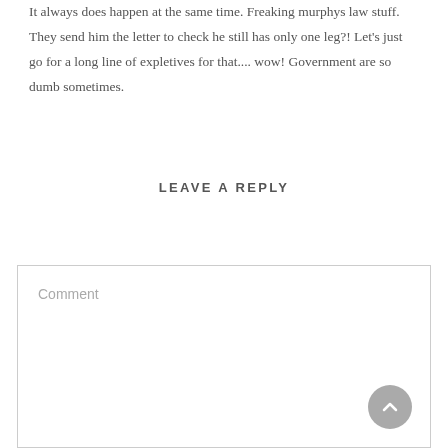It always does happen at the same time. Freaking murphys law stuff. They send him the letter to check he still has only one leg?! Let's just go for a long line of expletives for that.... wow! Government are so dumb sometimes.
LEAVE A REPLY
Comment